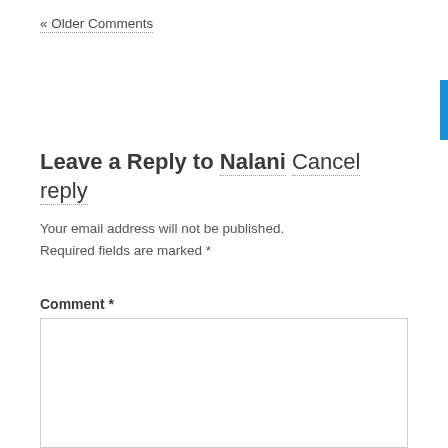« Older Comments
Leave a Reply to Nalani Cancel reply
Your email address will not be published. Required fields are marked *
Comment *